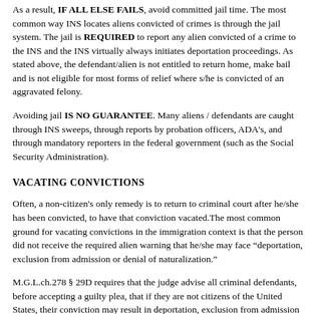As a result, IF ALL ELSE FAILS, avoid committed jail time. The most common way INS locates aliens convicted of crimes is through the jail system. The jail is REQUIRED to report any alien convicted of a crime to the INS and the INS virtually always initiates deportation proceedings. As stated above, the defendant/alien is not entitled to return home, make bail and is not eligible for most forms of relief where s/he is convicted of an aggravated felony.
Avoiding jail IS NO GUARANTEE. Many aliens / defendants are caught through INS sweeps, through reports by probation officers, ADA's, and through mandatory reporters in the federal government (such as the Social Security Administration).
VACATING CONVICTIONS
Often, a non-citizen's only remedy is to return to criminal court after he/she has been convicted, to have that conviction vacated.The most common ground for vacating convictions in the immigration context is that the person did not receive the required alien warning that he/she may face "deportation, exclusion from admission or denial of naturalization."
M.G.L.ch.278 § 29D requires that the judge advise all criminal defendants, before accepting a guilty plea, that if they are not citizens of the United States, their conviction may result in deportation, exclusion from admission or denial of naturalization. The statute places the burden on the government to establish that the warnings were given. If it fails to do so, the conviction must be vacated. If you notice that the judge has not given the required alien warnings, request a tape of the proceedings from the clerk and submit it to expedite from attorneys.